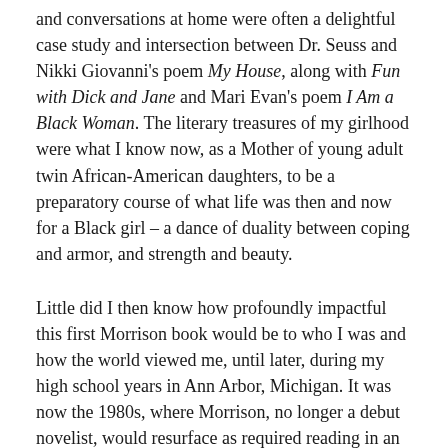and conversations at home were often a delightful case study and intersection between Dr. Seuss and Nikki Giovanni's poem My House, along with Fun with Dick and Jane and Mari Evan's poem I Am a Black Woman. The literary treasures of my girlhood were what I know now, as a Mother of young adult twin African-American daughters, to be a preparatory course of what life was then and now for a Black girl – a dance of duality between coping and armor, and strength and beauty.
Little did I then know how profoundly impactful this first Morrison book would be to who I was and how the world viewed me, until later, during my high school years in Ann Arbor, Michigan. It was now the 1980s, where Morrison, no longer a debut novelist, would resurface as required reading in an English course. Although already familiar with her works due to the vast home